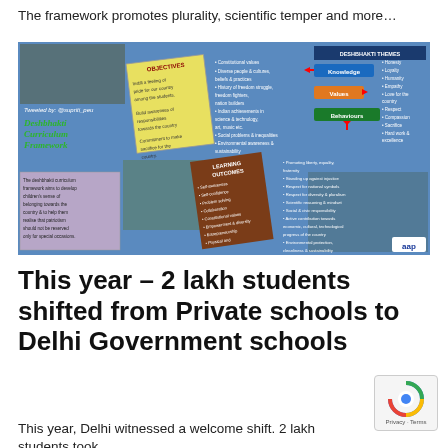The framework promotes plurality, scientific temper and more…
[Figure (infographic): Deshbhakti Curriculum Framework infographic showing objectives, learning outcomes, themes (Knowledge, Values, Behaviours), and a description of the curriculum framework. Tweeted by @supriti_peu. AAP logo visible.]
This year – 2 lakh students shifted from Private schools to Delhi Government schools
This year, Delhi witnessed a welcome shift. 2 lakh students took